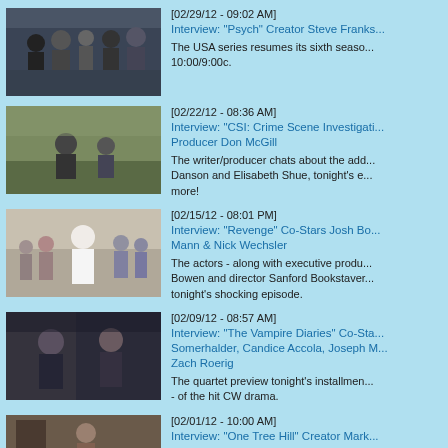[Figure (photo): TV show Psych cast photo]
[02/29/12 - 09:02 AM]
Interview: "Psych" Creator Steve Franks...
The USA series resumes its sixth season... 10:00/9:00c.
[Figure (photo): TV show CSI cast photo]
[02/22/12 - 08:36 AM]
Interview: "CSI: Crime Scene Investigati... Producer Don McGill
The writer/producer chats about the add... Danson and Elisabeth Shue, tonight's e... more!
[Figure (photo): TV show Revenge cast photo]
[02/15/12 - 08:01 PM]
Interview: "Revenge" Co-Stars Josh Bo... Mann & Nick Wechsler
The actors - along with executive produ... Bowen and director Sanford Bookstaver... tonight's shocking episode.
[Figure (photo): TV show The Vampire Diaries cast photo]
[02/09/12 - 08:57 AM]
Interview: "The Vampire Diaries" Co-Sta... Somerhalder, Candice Accola, Joseph M... Zach Roerig
The quartet preview tonight's installmen... - of the hit CW drama.
[Figure (photo): TV show One Tree Hill photo]
[02/01/12 - 10:00 AM]
Interview: "One Tree Hill" Creator Mark...